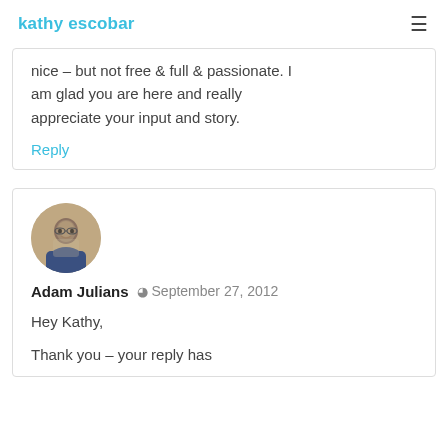kathy escobar
nice – but not free & full & passionate. I am glad you are here and really appreciate your input and story.
Reply
Adam Julians  September 27, 2012
Hey Kathy,
Thank you – your reply has